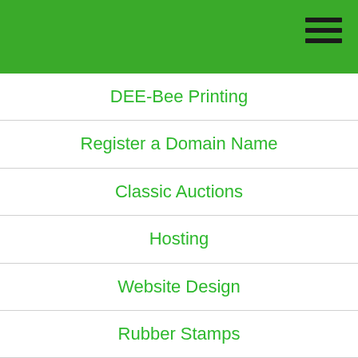DEE-Bee Printing
Register a Domain Name
Classic Auctions
Hosting
Website Design
Rubber Stamps
Lake Norman Signs
Real Estate
Air Dynamics HVAC
All Star Plumbing